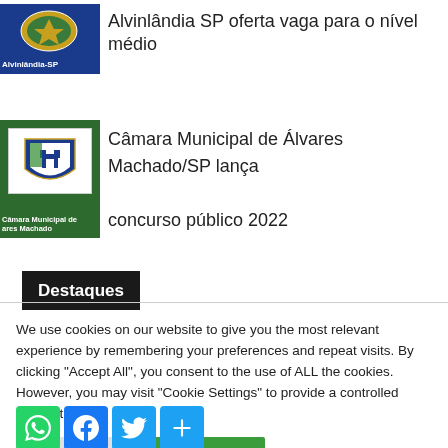[Figure (logo): Câmara Municipal de Alvinlândia-SP logo with blue background and municipal coat of arms]
Alvinlândia SP oferta vaga para o nível médio
[Figure (logo): Câmara Municipal de Álvares Machado logo with green background and white coat of arms]
Câmara Municipal de Álvares Machado/SP lança concurso público 2022
Destaques
We use cookies on our website to give you the most relevant experience by remembering your preferences and repeat visits. By clicking "Accept All", you consent to the use of ALL the cookies. However, you may visit "Cookie Settings" to provide a controlled consent.